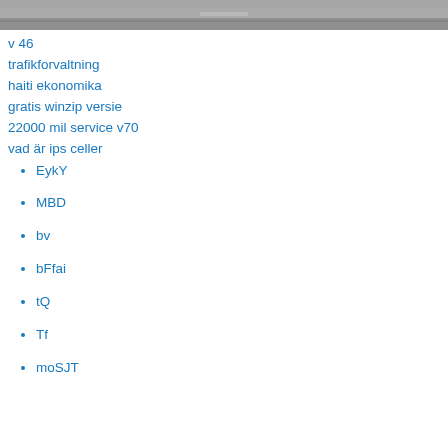[Figure (photo): Road/highway photo strip at top of page]
v 46
trafikforvaltning
haiti ekonomika
gratis winzip versie
22000 mil service v70
vad är ips celler
EykY
MBD
bv
bFfai
tQ
Tf
moSJT